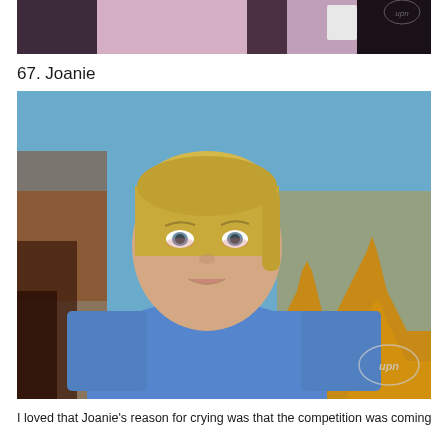[Figure (photo): Partial photo at top of page showing dark clothing and hands holding an object, with a UPN watermark logo visible in the upper right corner]
67. Joanie
[Figure (photo): Television screenshot of a blonde woman wearing a blue t-shirt crying or emotional, with a blurred golden temple/pagoda structure in the background, UPN watermark logo visible in the lower right corner]
I loved that Joanie's reason for crying was that the competition was coming